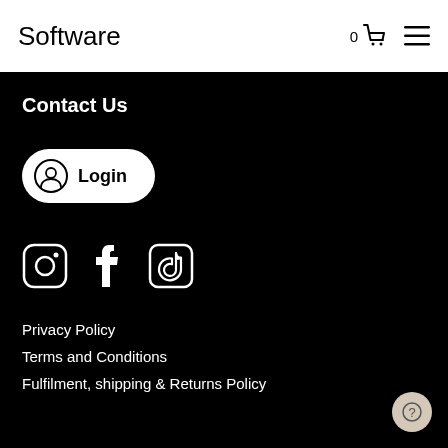Software
Contact Us
Login
[Figure (logo): Social media icons: Instagram, Facebook, TikTok]
Privacy Policy
Terms and Conditions
Fulfilment, shipping & Returns Policy